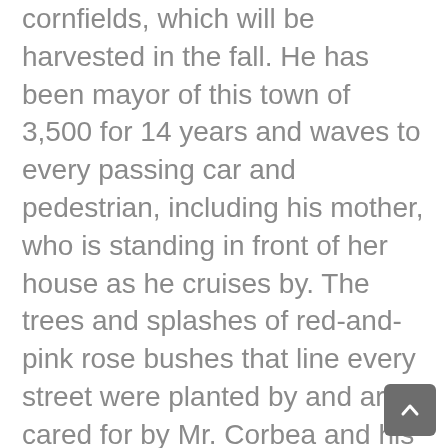cornfields, which will be harvested in the fall. He has been mayor of this town of 3,500 for 14 years and waves to every passing car and pedestrian, including his mother, who is standing in front of her house as he cruises by. The trees and splashes of red-and-pink rose bushes that line every street were planted by and are cared for by Mr. Corbea and his workers.He said he employed 50 people and brought in €10 million a year in sales. In recent years, the farm has invested heavily in technology and irrigation.Amid rows of leafy green corn, a long center-pivot irrigation system is perched like a giant skeletal pterodactyl with its wings outstretched.Because of price rises and better